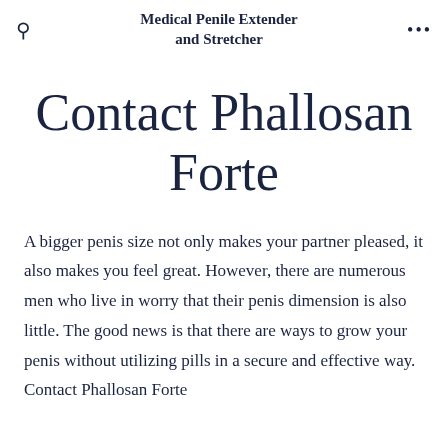Medical Penile Extender and Stretcher
Contact Phallosan Forte
A bigger penis size not only makes your partner pleased, it also makes you feel great. However, there are numerous men who live in worry that their penis dimension is also little. The good news is that there are ways to grow your penis without utilizing pills in a secure and effective way. Contact Phallosan Forte